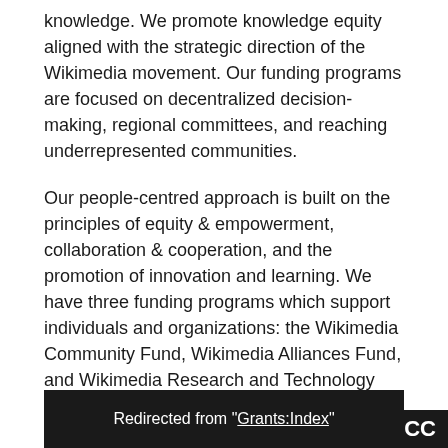knowledge. We promote knowledge equity aligned with the strategic direction of the Wikimedia movement. Our funding programs are focused on decentralized decision-making, regional committees, and reaching underrepresented communities.
Our people-centred approach is built on the principles of equity & empowerment, collaboration & cooperation, and the promotion of innovation and learning. We have three funding programs which support individuals and organizations: the Wikimedia Community Fund, Wikimedia Alliances Fund, and Wikimedia Research and Technology Fund.
Redirected from "Grants:Index"